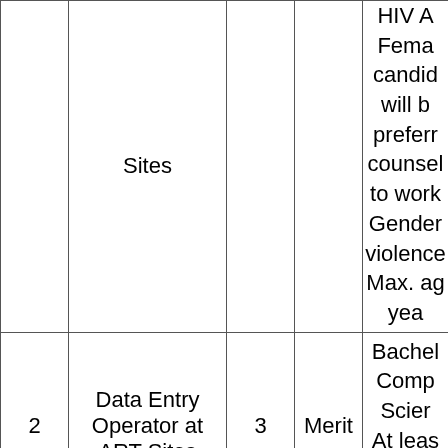|  | Sites |  |  | HIV A
Fema
candid
will b
preferr
counsel
to work
Gender
violence
Max. ag
yea |
| 2 | Data Entry Operator at ART Sites | 3 | Merit | Bachel
Comp
Scier
At leas
yea
experier |